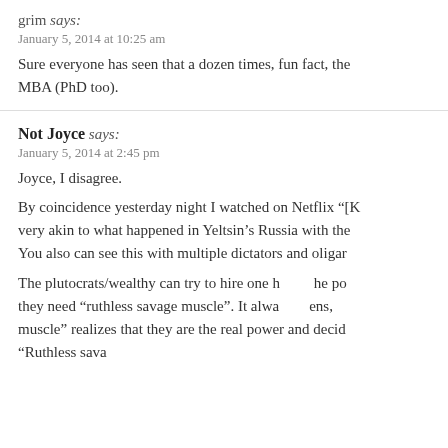grim says:
January 5, 2014 at 10:25 am
Sure everyone has seen that a dozen times, fun fact, the MBA (PhD too).
Not Joyce says:
January 5, 2014 at 2:45 pm
Joyce, I disagree.
By coincidence yesterday night I watched on Netflix “[K]” very akin to what happened in Yeltsin’s Russia with the You also can see this with multiple dictators and oligar
The plutocrats/wealthy can try to hire one h[alf] the p[eople] they need “ruthless savage muscle”. It alwa[ys happ]ens, muscle” realizes that they are the real power and decide “Ruthless sava[ge muscle]” they control and th[ey…]